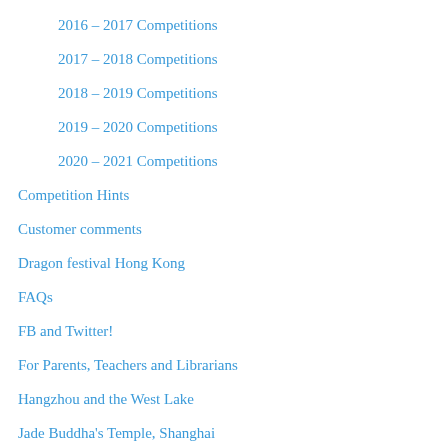2016 – 2017 Competitions
2017 – 2018 Competitions
2018 – 2019 Competitions
2019 – 2020 Competitions
2020 – 2021 Competitions
Competition Hints
Customer comments
Dragon festival Hong Kong
FAQs
FB and Twitter!
For Parents, Teachers and Librarians
Hangzhou and the West Lake
Jade Buddha's Temple, Shanghai
Press
Room to Read
Some Chinese Heroes!
Story Readings!
Subscribe to my Newsletter
Teacher Testimonials
The Forbidden Palace, Beijing